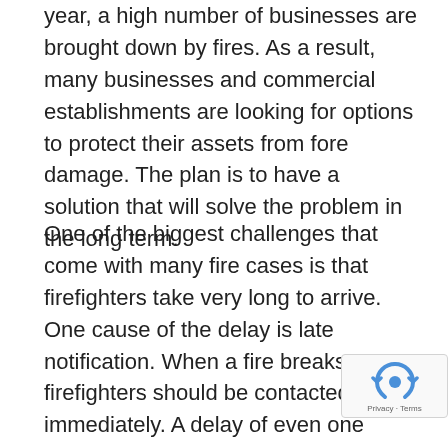year, a high number of businesses are brought down by fires. As a result, many businesses and commercial establishments are looking for options to protect their assets from fore damage. The plan is to have a solution that will solve the problem in the long term.
One of the biggest challenges that come with many fire cases is that firefighters take very long to arrive. One cause of the delay is late notification. When a fire breaks out, firefighters should be contacted immediately. A delay of even one minute can make a huge difference for your business. A delay can cause what would have been small damage to become complete destruction of your business. You can avoid such problems by working with a reliable alarm